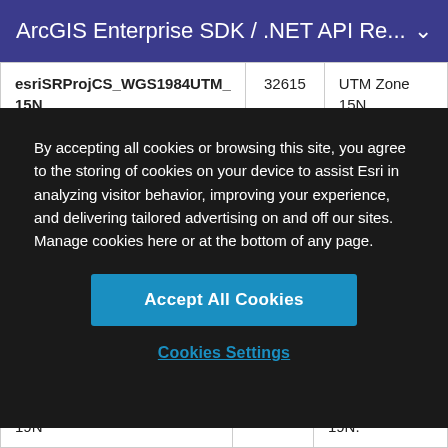ArcGIS Enterprise SDK / .NET API Re...
| esriSRProjCS_WGS1984UTM_15N | 32615 | UTM Zone 15N. |
By accepting all cookies or browsing this site, you agree to the storing of cookies on your device to assist Esri in analyzing visitor behavior, improving your experience, and delivering tailored advertising on and off our sites. Manage cookies here or at the bottom of any page.
Accept All Cookies
Cookies Settings
| 19N |  | 19N. |